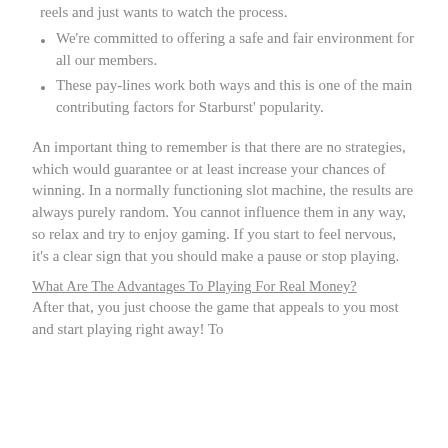reels and just wants to watch the process.
We're committed to offering a safe and fair environment for all our members.
These pay-lines work both ways and this is one of the main contributing factors for Starburst' popularity.
An important thing to remember is that there are no strategies, which would guarantee or at least increase your chances of winning. In a normally functioning slot machine, the results are always purely random. You cannot influence them in any way, so relax and try to enjoy gaming. If you start to feel nervous, it's a clear sign that you should make a pause or stop playing.
What Are The Advantages To Playing For Real Money?
After that, you just choose the game that appeals to you most and start playing right away! To